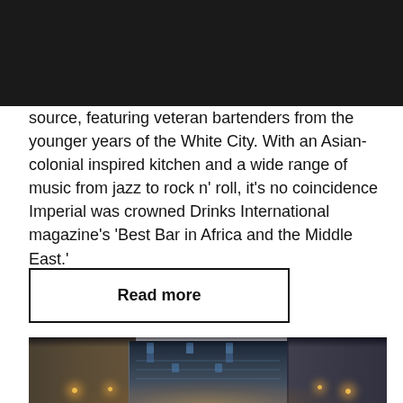source, featuring veteran bartenders from the younger years of the White City. With an Asian-colonial inspired kitchen and a wide range of music from jazz to rock n' roll, it's no coincidence Imperial was crowned Drinks International magazine's 'Best Bar in Africa and the Middle East.'
Read more
[Figure (photo): Night street scene showing multi-story buildings illuminated with blue and warm lighting, looking up a narrow urban street with street lights and power lines visible.]